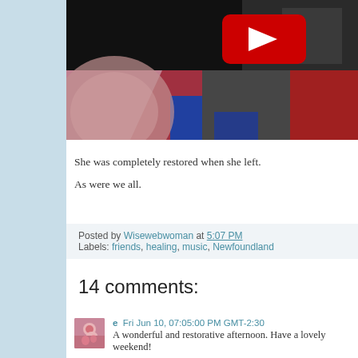[Figure (screenshot): YouTube video thumbnail showing composite images with a YouTube play button (red rounded rectangle with white triangle) overlaid on top. The thumbnail shows animated and real video footage collaged together with dark, blue, and red-toned imagery.]
She was completely restored when she left.
As were we all.
Posted by Wisewebwoman at 5:07 PM
Labels: friends, healing, music, Newfoundland
14 comments:
e  Fri Jun 10, 07:05:00 PM GMT-2:30
A wonderful and restorative afternoon. Have a lovely weekend!